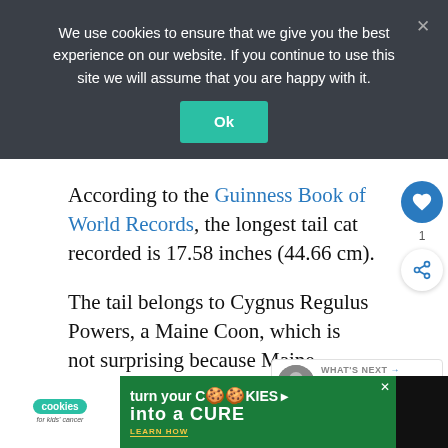We use cookies to ensure that we give you the best experience on our website. If you continue to use this site we will assume that you are happy with it.
Ok
According to the Guinness Book of World Records, the longest tail cat recorded is 17.58 inches (44.66 cm).
The tail belongs to Cygnus Regulus Powers, a Maine Coon, which is not surprising because Maine Coons are known to [be big] cats.
[Figure (screenshot): Ad banner: 'turn your COOKIES into a CURE LEARN HOW' with cookies for kids cancer logo on green background]